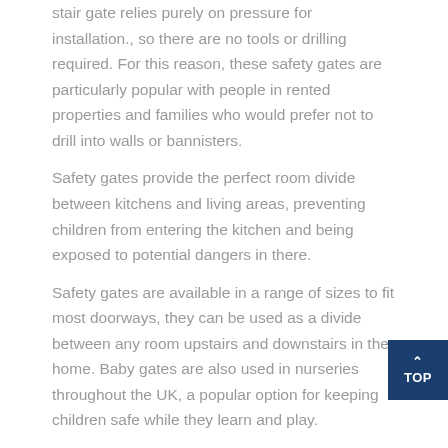stair gate relies purely on pressure for installation., so there are no tools or drilling required. For this reason, these safety gates are particularly popular with people in rented properties and families who would prefer not to drill into walls or bannisters.
Safety gates provide the perfect room divide between kitchens and living areas, preventing children from entering the kitchen and being exposed to potential dangers in there.
Safety gates are available in a range of sizes to fit most doorways, they can be used as a divide between any room upstairs and downstairs in the home. Baby gates are also used in nurseries throughout the UK, a popular option for keeping children safe while they learn and play.
What age are baby gates for?
Stair gates are designed and safety-tested up to 24